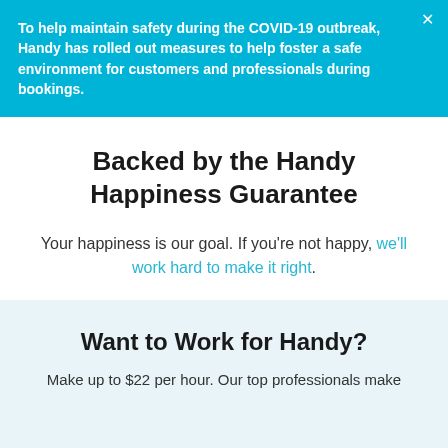To help maintain safety during the COVID-19 outbreak, Handy has rolled out measures to help foster a safe environment for customers and professionals during bookings.
Backed by the Handy Happiness Guarantee
Your happiness is our goal. If you're not happy, we'll work hard to make it right.
Want to Work for Handy?
Make up to $22 per hour. Our top professionals make